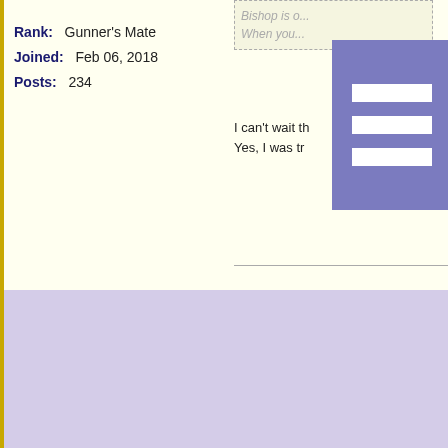Rank: Gunner's Mate
Joined: Feb 06, 2018
Posts: 234
I can't wait th...
Yes, I was tr...
CHILIMAN05
[Figure (illustration): Horseshoe shaped avatar with sun/orange design, purple horseshoe frame with golden rays, orange sunset circle]
Rank: Bosun
Joined: Aug 10, 2011
Posts: 304
Re: Favorite Armada Elite
anecorbie on Oct 29, 2019 w...
Actually, Phule is more uni...
harsher but their comments...
Bishop is only the "brains"...
When you get to Valencia2...
Well yes, but sometimes he...
sometimes he sticks to the...
people. This is what his ma...
Also Bishop is certainly the...
foolproof plan to capture Ma...
ambush from Mooshu and t...